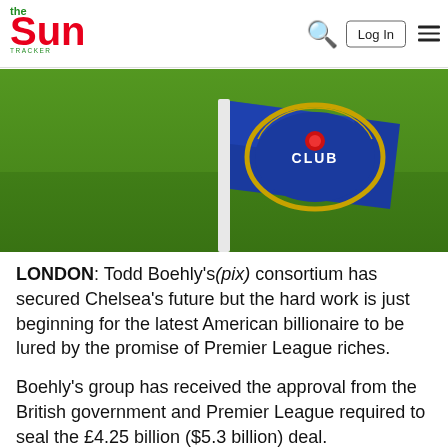The Sun — Log In
[Figure (photo): Chelsea FC corner flag in blue with gold crest reading 'CLUB', green grass background]
LONDON: Todd Boehly's(pix) consortium has secured Chelsea's future but the hard work is just beginning for the latest American billionaire to be lured by the promise of Premier League riches.
Boehly's group has received the approval from the British government and Premier League required to seal the £4.25 billion ($5.3 billion) deal.
He is among...